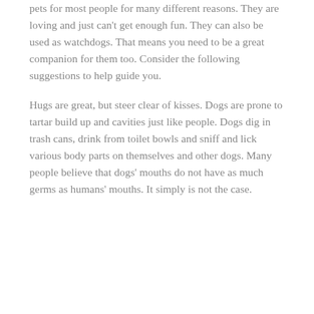pets for most people for many different reasons. They are loving and just can't get enough fun. They can also be used as watchdogs. That means you need to be a great companion for them too. Consider the following suggestions to help guide you.
Hugs are great, but steer clear of kisses. Dogs are prone to tartar build up and cavities just like people. Dogs dig in trash cans, drink from toilet bowls and sniff and lick various body parts on themselves and other dogs. Many people believe that dogs' mouths do not have as much germs as humans' mouths. It simply is not the case.